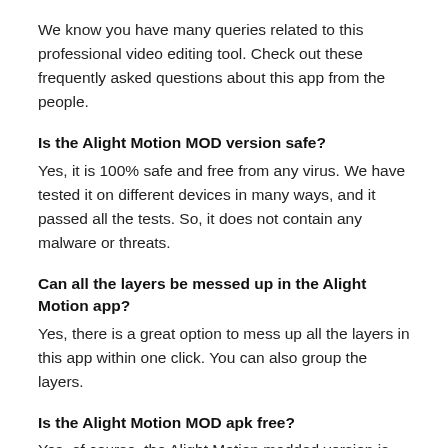We know you have many queries related to this professional video editing tool. Check out these frequently asked questions about this app from the people.
Is the Alight Motion MOD version safe?
Yes, it is 100% safe and free from any virus. We have tested it on different devices in many ways, and it passed all the tests. So, it does not contain any malware or threats.
Can all the layers be messed up in the Alight Motion app?
Yes, there is a great option to mess up all the layers in this app within one click. You can also group the layers.
Is the Alight Motion MOD apk free?
Yes, of course, the Alight Motion modded version is an ap